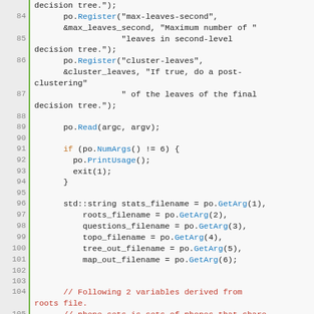[Figure (screenshot): Source code screenshot showing C++ code lines 84-109 with syntax highlighting. Line numbers on left, green vertical bar separator, code with blue function/method names, orange keywords, red comments.]